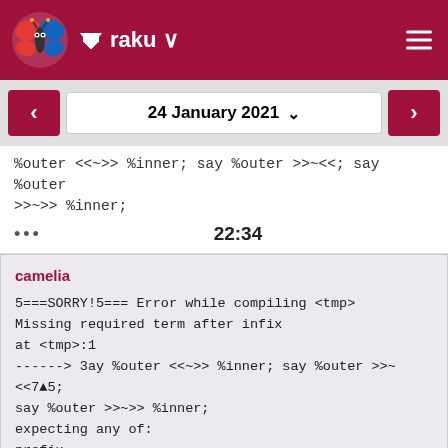raku
24 January 2021
%outer <<~>> %inner; say %outer >>~<<; say %outer >>~>> %inner;
22:34
camelia

5===SORRY!5=== Error while compiling <tmp>
Missing required term after infix
at <tmp>:1
------> 3ay %outer <<~>> %inner; say %outer >>~<<7▲5;
say %outer >>~>> %inner;
expecting any of:
prefix
term